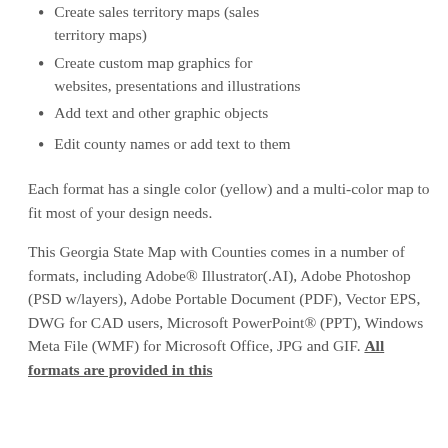Create sales territory maps (sales territory maps)
Create custom map graphics for websites, presentations and illustrations
Add text and other graphic objects
Edit county names or add text to them
Each format has a single color (yellow) and a multi-color map to fit most of your design needs.
This Georgia State Map with Counties comes in a number of formats, including Adobe® Illustrator(.AI), Adobe Photoshop (PSD w/layers), Adobe Portable Document (PDF), Vector EPS, DWG for CAD users, Microsoft PowerPoint® (PPT), Windows Meta File (WMF) for Microsoft Office, JPG and GIF. All formats are provided in this